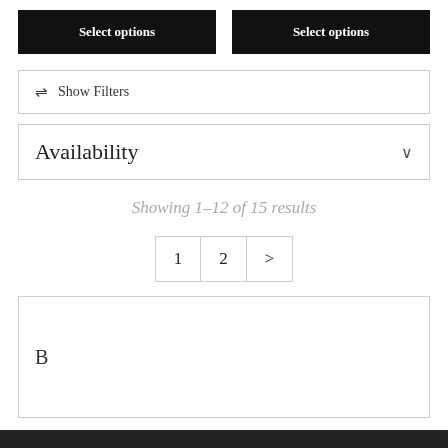Select options
Select options
⇌  Show Filters
Availability
Showing 1–12 of 15 results
1  2  >
B